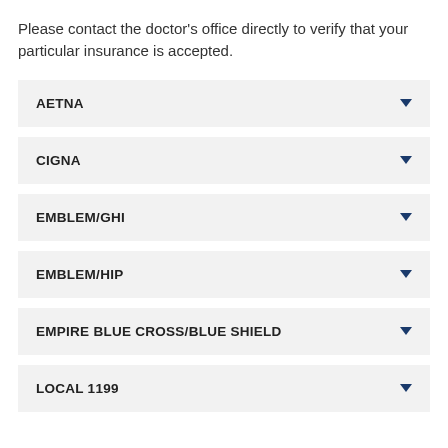Please contact the doctor's office directly to verify that your particular insurance is accepted.
AETNA
CIGNA
EMBLEM/GHI
EMBLEM/HIP
EMPIRE BLUE CROSS/BLUE SHIELD
LOCAL 1199